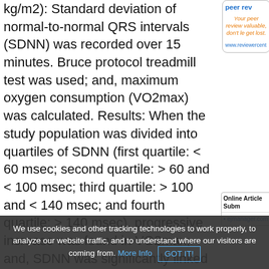kg/m2): Standard deviation of normal-to-normal QRS intervals (SDNN) was recorded over 15 minutes. Bruce protocol treadmill test was used; and, maximum oxygen consumption (VO2max) was calculated. Results: When the study population was divided into quartiles of SDNN (first quartile: < 60 msec; second quartile: > 60 and < 100 msec; third quartile: > 100 and < 140 msec; and fourth quartile: > 140 msec), progressive increase was found in VO2max; and, SDNN was significantly linked with estimated VO2max. Conclusions: The results suggest that HRV may independently predict aerobic capacity in study population.
[Figure (other): Peer review badge panel (partially visible): blue 'peer rev...' header, orange italic promotional text 'Your peer review valuable, don't le get lost.', blue link 'www.reviewercent...']
[Figure (other): Online Article Submission panel with link: ejmanager.com]
We use cookies and other tracking technologies to work properly, to analyze our website traffic, and to understand where our visitors are coming from. More Info GOT IT!